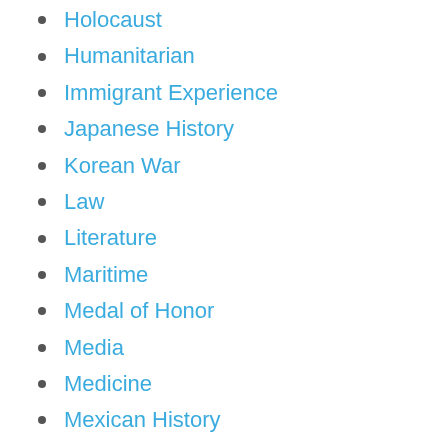Holocaust
Humanitarian
Immigrant Experience
Japanese History
Korean War
Law
Literature
Maritime
Medal of Honor
Media
Medicine
Mexican History
Middle East History
Music
Native Americans
Natural History